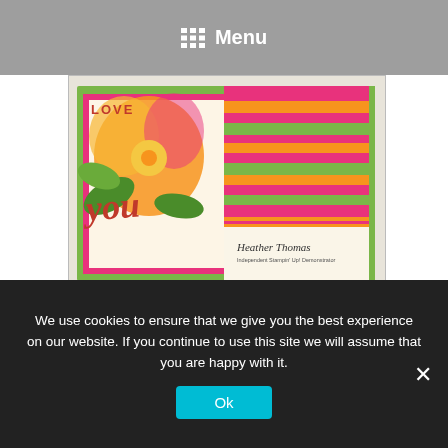Menu
[Figure (photo): A colorful handmade greeting card with tropical flowers (orange hibiscus), green leaves, bright stripes in pink/red/green, 'LOVE' and 'you' text. Signed by Heather Thomas, Independent Stampin' Up! Demonstrator.]
Casually Crafting Holiday Dreams Blog Hop...
Hello & welcome back to the Casually Crafting Blog Hop. This months theme is Holiday Dreams, and that led to me having a little dilemma, did I go Summer Holidays or Christmas Holidays! I will let you decide which one I went for. The Casually Crafting Design Team are a group of independent Stampin' Up! demonstrators that want to share our take on casual crafting with you all. We will be sharing what we love every 3rd Friday of each month. Make sure you check out the rest of the Design Team's creative projects from the photo links at the [...]
We use cookies to ensure that we give you the best experience on our website. If you continue to use this site we will assume that you are happy with it.